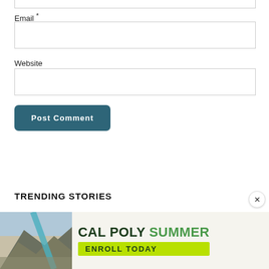Email *
Website
Post Comment
TRENDING STORIES
[Figure (infographic): Cal Poly Summer advertisement banner with mountain landscape photo and text: CAL POLY SUMMER, ENROLL TODAY on a green background]